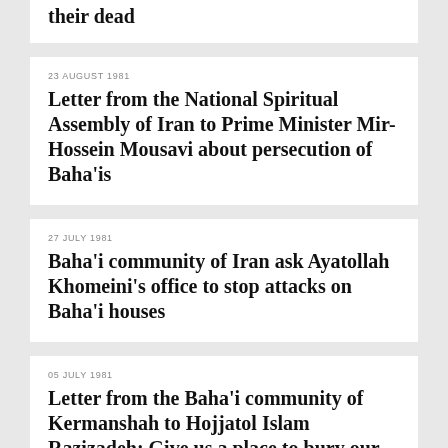their dead
23 AUGUST 1981
Letter from the National Spiritual Assembly of Iran to Prime Minister Mir-Hossein Mousavi about persecution of Baha’is
27 JULY 1981
Baha’i community of Iran ask Ayatollah Khomeini’s office to stop attacks on Baha'i houses
05 JULY 1981
Letter from the Baha’i community of Kermanshah to Hojjatol Islam Razizadeh: Give us a place to bury our dead
05 JULY 1981